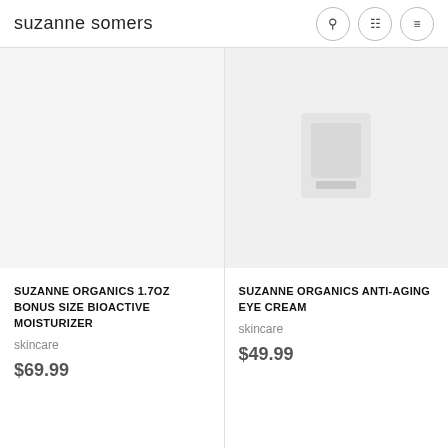suzanne somers
[Figure (photo): Product image area for Suzanne Organics 1.7oz Bonus Size Bioactive Moisturizer - blank/white product image area]
SUZANNE ORGANICS 1.7OZ BONUS SIZE BIOACTIVE MOISTURIZER
skincare
$69.99
[Figure (photo): Product image for Suzanne Organics Anti-Aging Eye Cream - faint product image visible]
SUZANNE ORGANICS ANTI-AGING EYE CREAM
skincare
$49.99